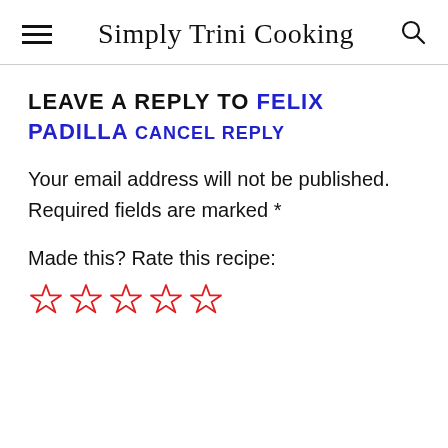Simply Trini Cooking
LEAVE A REPLY TO FELIX PADILLA CANCEL REPLY
Your email address will not be published. Required fields are marked *
Made this? Rate this recipe:
[Figure (other): Five empty star rating icons in red/orange outline]